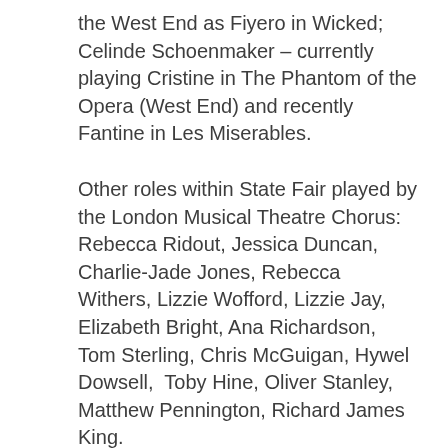the West End as Fiyero in Wicked; Celinde Schoenmaker – currently playing Cristine in The Phantom of the Opera (West End) and recently Fantine in Les Miserables.
Other roles within State Fair played by the London Musical Theatre Chorus: Rebecca Ridout, Jessica Duncan, Charlie-Jade Jones, Rebecca Withers, Lizzie Wofford, Lizzie Jay, Elizabeth Bright, Ana Richardson, Tom Sterling, Chris McGuigan, Hywel Dowsell, Toby Hine, Oliver Stanley, Matthew Pennington, Richard James King.
Show: LMTO Presents Rodgers and Hammerstein's State Fair
Venue: Cadogan Hall, 5 Sloane Terrace, London,